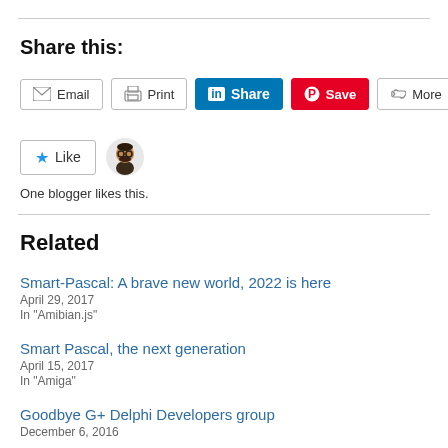Share this:
[Figure (screenshot): Social sharing buttons row: Email, Print, LinkedIn Share (blue), Pinterest Save (red), More]
One blogger likes this.
Related
Smart-Pascal: A brave new world, 2022 is here
April 29, 2017
In "Amibian.js"
Smart Pascal, the next generation
April 15, 2017
In "Amiga"
Goodbye G+ Delphi Developers group
December 6, 2016